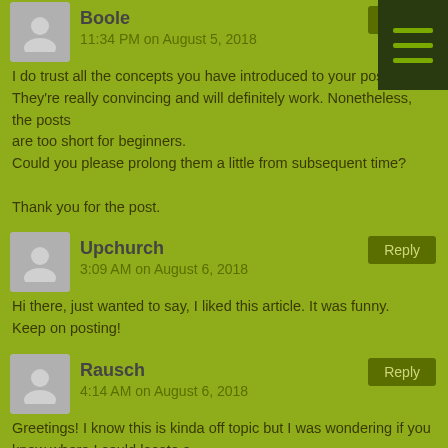Boole
11:34 PM on August 5, 2018
I do trust all the concepts you have introduced to your post.
They're really convincing and will definitely work. Nonetheless, the posts
are too short for beginners.
Could you please prolong them a little from subsequent time?

Thank you for the post.
Upchurch
3:09 AM on August 6, 2018
Hi there, just wanted to say, I liked this article. It was funny.
Keep on posting!
Rausch
4:14 AM on August 6, 2018
Greetings! I know this is kinda off topic but I was wondering if you knew where I could locate a
captcha plugin for my comment form? I'm using the same blog
platform as yours and I'm having problems finding one?
Thanks a lot!
Baskin
5:50 AM on August 6, 2018